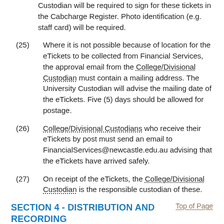Custodian will be required to sign for these tickets in the Cabcharge Register. Photo identification (e.g. staff card) will be required.
(25) Where it is not possible because of location for the eTickets to be collected from Financial Services, the approval email from the College/Divisional Custodian must contain a mailing address. The University Custodian will advise the mailing date of the eTickets. Five (5) days should be allowed for postage.
(26) College/Divisional Custodians who receive their eTickets by post must send an email to FinancialServices@newcastle.edu.au advising that the eTickets have arrived safely.
(27) On receipt of the eTickets, the College/Divisional Custodian is the responsible custodian of these.
SECTION 4 - DISTRIBUTION AND RECORDING
Top of Page